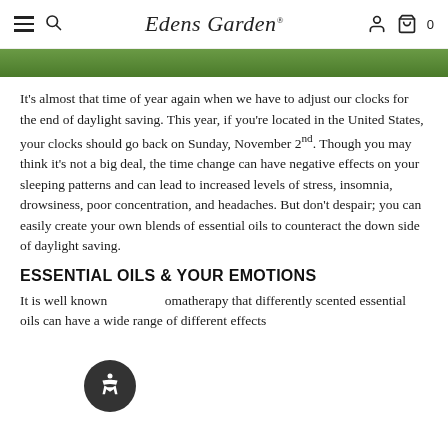Edens Garden
[Figure (photo): Partial view of a green plant/garden image at the top of the page]
It's almost that time of year again when we have to adjust our clocks for the end of daylight saving. This year, if you're located in the United States, your clocks should go back on Sunday, November 2nd. Though you may think it's not a big deal, the time change can have negative effects on your sleeping patterns and can lead to increased levels of stress, insomnia, drowsiness, poor concentration, and headaches. But don't despair; you can easily create your own blends of essential oils to counteract the down side of daylight saving.
ESSENTIAL OILS & YOUR EMOTIONS
It is well known in aromatherapy that differently scented essential oils can have a wide range of different effects